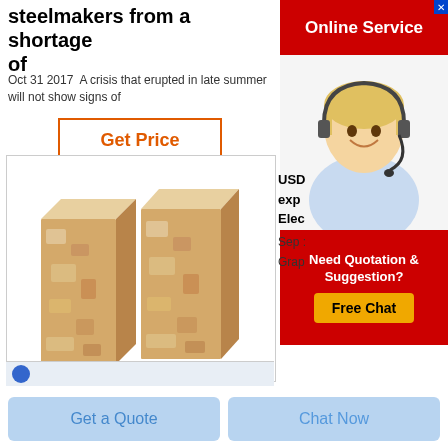steelmakers from a shortage of
Oct 31 2017  A crisis that erupted in late summer will not show signs of
[Figure (other): Get Price button with orange border and orange text]
[Figure (photo): Two rectangular refractory/magnesia bricks side by side on white background inside a bordered box]
[Figure (other): Online Service advertisement banner with red background, woman with headset, Need Quotation & Suggestion Free Chat button]
USD exp Elec Sep : Grap
[Figure (other): Partial blue bar with circle icon at bottom of article]
[Figure (other): Get a Quote and Chat Now buttons at bottom of page]